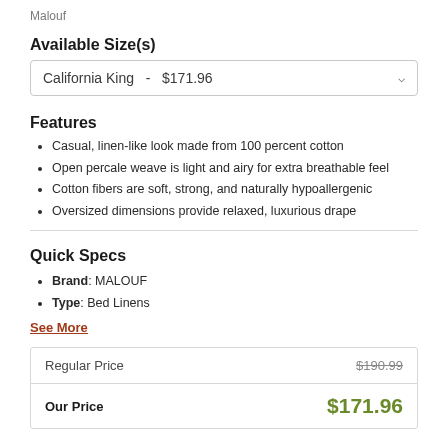Malouf
Available Size(s)
California King  -  $171.96
Features
Casual, linen-like look made from 100 percent cotton
Open percale weave is light and airy for extra breathable feel
Cotton fibers are soft, strong, and naturally hypoallergenic
Oversized dimensions provide relaxed, luxurious drape
Quick Specs
Brand: MALOUF
Type: Bed Linens
See More
| Label | Price |
| --- | --- |
| Regular Price | $190.99 |
| Our Price | $171.96 |